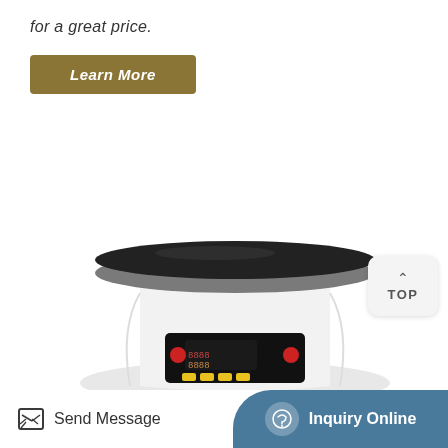for a great price.
Learn More
[Figure (photo): A laboratory centrifuge or hot plate stirrer with a large black circular disc on top and a white body with a black control panel featuring red buttons, yellow buttons, and a digital display.]
TOP
Send Message
Inquiry Online